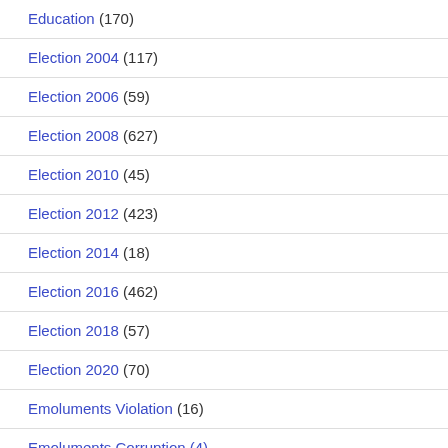Education (170)
Election 2004 (117)
Election 2006 (59)
Election 2008 (627)
Election 2010 (45)
Election 2012 (423)
Election 2014 (18)
Election 2016 (462)
Election 2018 (57)
Election 2020 (70)
Emoluments Violation (16)
Emoluments Corruption (?)